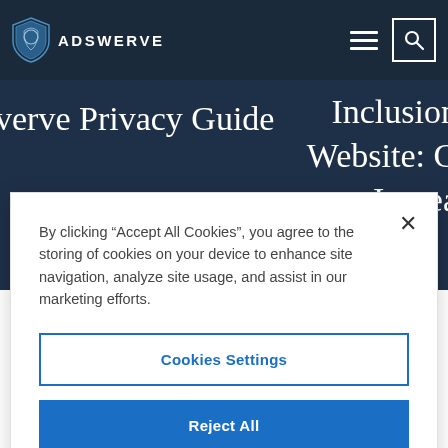ADSWERVE
werve Privacy Guide
Inclusion Website: G Increa
By clicking “Accept All Cookies”, you agree to the storing of cookies on your device to enhance site navigation, analyze site usage, and assist in our marketing efforts.
Cookies Settings
Reject All
Accept All Cookies